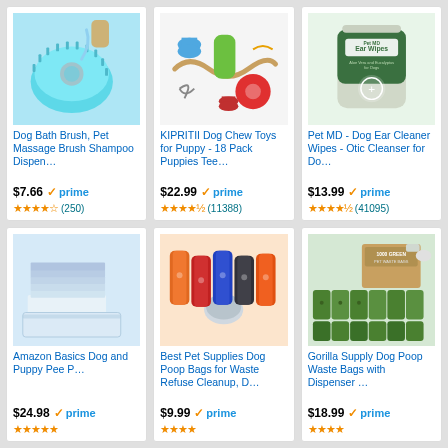[Figure (photo): Dog Bath Brush product image - teal silicone brush with shampoo dispenser]
Dog Bath Brush, Pet Massage Brush Shampoo Dispen…
$7.66 ✓prime ★★★★☆ (250)
[Figure (photo): KIPRITII Dog Chew Toys set of 18 colorful puppy toys]
KIPRITII Dog Chew Toys for Puppy - 18 Pack Puppies Tee…
$22.99 ✓prime ★★★★½ (11388)
[Figure (photo): Pet MD Ear Wipes container with Aloe Vera and Eucalyptus]
Pet MD - Dog Ear Cleaner Wipes - Otic Cleanser for Do…
$13.99 ✓prime ★★★★½ (41095)
[Figure (photo): Amazon Basics Dog and Puppy Pee Pads stacked light blue]
Amazon Basics Dog and Puppy Pee P…
$24.98 ✓prime ★★★★★
[Figure (photo): Best Pet Supplies Dog Poop Bags colorful rolls with dispenser]
Best Pet Supplies Dog Poop Bags for Waste Refuse Cleanup, D…
$9.99 ✓prime
[Figure (photo): Gorilla Supply Dog Poop Waste Bags 1000 green bags with dispenser]
Gorilla Supply Dog Poop Waste Bags with Dispenser …
$18.99 ✓prime